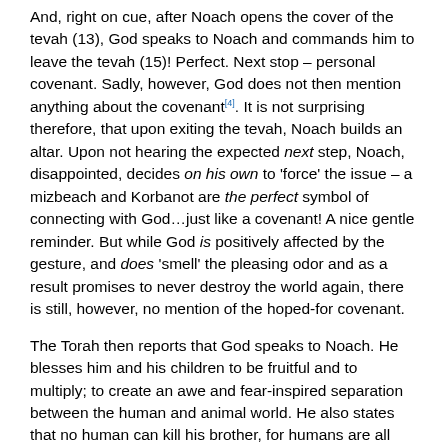And, right on cue, after Noach opens the cover of the tevah (13), God speaks to Noach and commands him to leave the tevah (15)! Perfect. Next stop – personal covenant. Sadly, however, God does not then mention anything about the covenant[4]. It is not surprising therefore, that upon exiting the tevah, Noach builds an altar. Upon not hearing the expected next step, Noach, disappointed, decides on his own to 'force' the issue – a mizbeach and Korbanot are the perfect symbol of connecting with God…just like a covenant! A nice gentle reminder. But while God is positively affected by the gesture, and does 'smell' the pleasing odor and as a result promises to never destroy the world again, there is still, however, no mention of the hoped-for covenant.
The Torah then reports that God speaks to Noach. He blesses him and his children to be fruitful and to multiply; to create an awe and fear-inspired separation between the human and animal world. He also states that no human can kill his brother, for humans are all created in the image of God (9:1-6). And, finally, right after He charges Noach to actualize this blessing, to go out and be fruitful and multiply and fill the land, God then says 'behold, I am establishing My covenant with you, and your generations…'! The final step! The long-awaited declaration Noach has been yearning